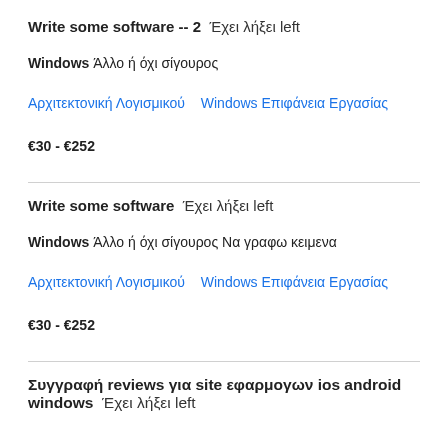Write some software -- 2  Έχει λήξει left
Windows Άλλο ή όχι σίγουρος
Αρχιτεκτονική Λογισμικού   Windows Επιφάνεια Εργασίας
€30 - €252
Write some software  Έχει λήξει left
Windows Άλλο ή όχι σίγουρος Να γραφω κειμενα
Αρχιτεκτονική Λογισμικού   Windows Επιφάνεια Εργασίας
€30 - €252
Συγγραφή reviews για site εφαρμογων ios android windows  Έχει λήξει left